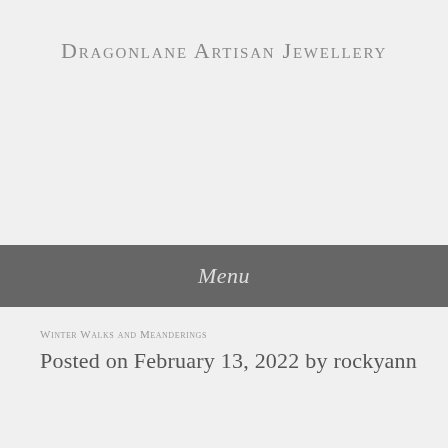Dragonlane Artisan Jewellery
Menu
Winter Walks and Meanderings
Posted on February 13, 2022 by rockyann